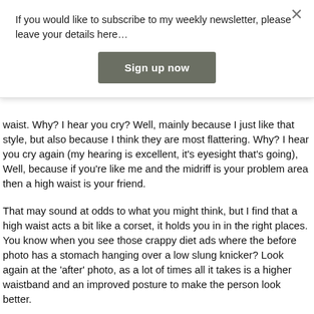If you would like to subscribe to my weekly newsletter, please leave your details here…
Sign up now
waist. Why? I hear you cry? Well, mainly because I just like that style, but also because I think they are most flattering. Why? I hear you cry again (my hearing is excellent, it's eyesight that's going), Well, because if you're like me and the midriff is your problem area then a high waist is your friend.
That may sound at odds to what you might think, but I find that a high waist acts a bit like a corset, it holds you in in the right places. You know when you see those crappy diet ads where the before photo has a stomach hanging over a low slung knicker? Look again at the 'after' photo, as a lot of times all it takes is a higher waistband and an improved posture to make the person look better.